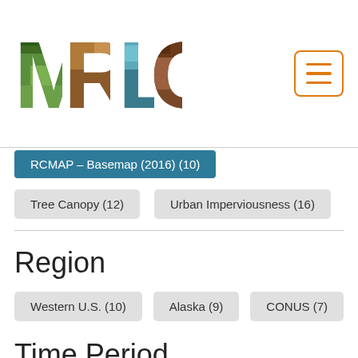[Figure (logo): MRLC logo with green, brown, and teal letters over nature imagery]
RCMAP – Basemap (2016) (10)
Tree Canopy (12)
Urban Imperviousness (16)
Region
Western U.S. (10)
Alaska (9)
CONUS (7)
Time Period